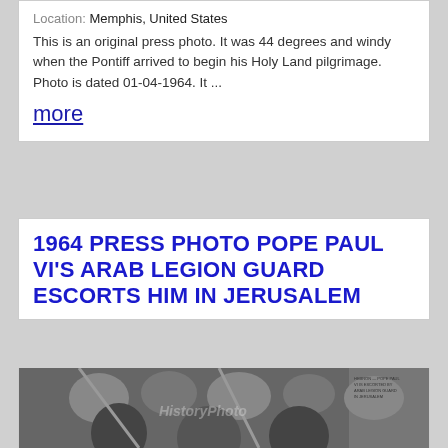Location: Memphis, United States
This is an original press photo. It was 44 degrees and windy when the Pontiff arrived to begin his Holy Land pilgrimage. Photo is dated 01-04-1964. It ...
more
1964 PRESS PHOTO POPE PAUL VI'S ARAB LEGION GUARD ESCORTS HIM IN JERUSALEM
[Figure (photo): Black and white press photo showing Pope Paul VI being escorted by Arab Legion Guard in Jerusalem, 1964. Crowd visible in background. Watermark overlay on image.]